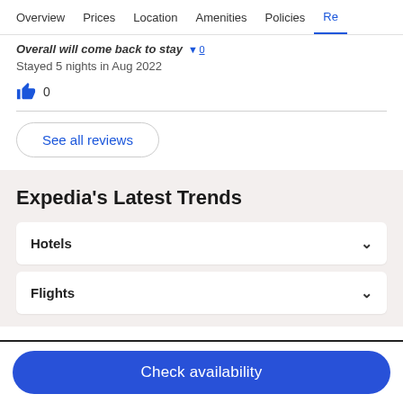Overview  Prices  Location  Amenities  Policies  Re
Overall will come back to stay
Stayed 5 nights in Aug 2022
0
See all reviews
Expedia's Latest Trends
Hotels
Flights
Check availability